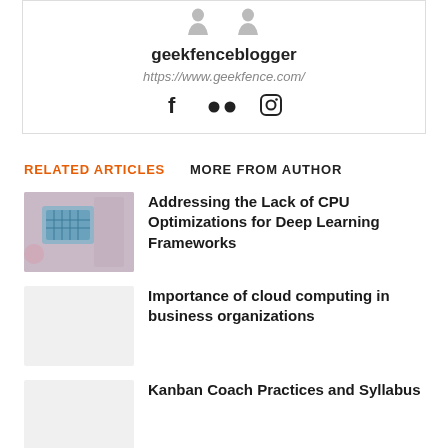[Figure (illustration): Author profile card with silhouette avatar, username geekfenceblogger, website URL, and social media icons (Facebook, Flickr, Instagram)]
RELATED ARTICLES   MORE FROM AUTHOR
[Figure (photo): Thumbnail image of a computer chip/circuit board]
Addressing the Lack of CPU Optimizations for Deep Learning Frameworks
Importance of cloud computing in business organizations
Kanban Coach Practices and Syllabus